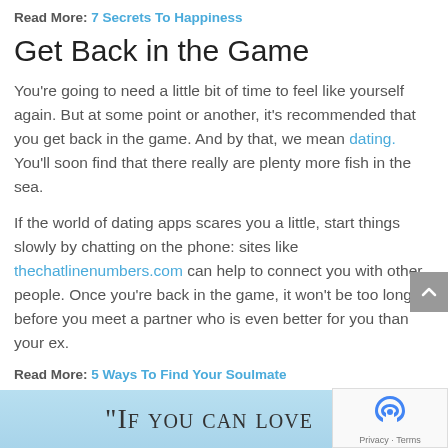Read More: 7 Secrets To Happiness
Get Back in the Game
You're going to need a little bit of time to feel like yourself again. But at some point or another, it's recommended that you get back in the game. And by that, we mean dating. You'll soon find that there really are plenty more fish in the sea.
If the world of dating apps scares you a little, start things slowly by chatting on the phone: sites like thechatlinenumbers.com can help to connect you with other people. Once you're back in the game, it won't be too long before you meet a partner who is even better for you than your ex.
Read More: 5 Ways To Find Your Soulmate
[Figure (illustration): Light blue banner with text beginning: "If You Can Love]